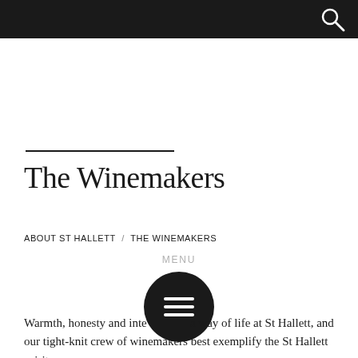The Winemakers
ABOUT ST HALLETT / THE WINEMAKERS
MENU
[Figure (other): Circular black menu button with three horizontal lines (hamburger icon)]
Warmth, honesty and integrity are a way of life at St Hallett, and our tight-knit crew of winemakers best exemplify the St Hallett spirit.